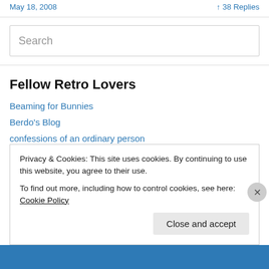May 18, 2008   38 Replies
Fellow Retro Lovers
Beaming for Bunnies
Berdo's Blog
confessions of an ordinary person
Dan's Corner of the Internet
Privacy & Cookies: This site uses cookies. By continuing to use this website, you agree to their use. To find out more, including how to control cookies, see here: Cookie Policy
Close and accept